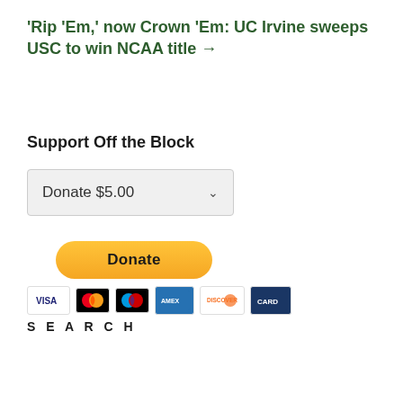'Rip 'Em,' now Crown 'Em: UC Irvine sweeps USC to win NCAA title →
Support Off the Block
[Figure (other): Donation dropdown selector showing 'Donate $5.00' with a chevron arrow, followed by a PayPal yellow 'Donate' button and credit card icons (Visa, Mastercard, Maestro, Amex, Discover, another card)]
SEARCH
[Figure (other): Search input box with placeholder 'Search ...' and a dark green search button with magnifying glass icon]